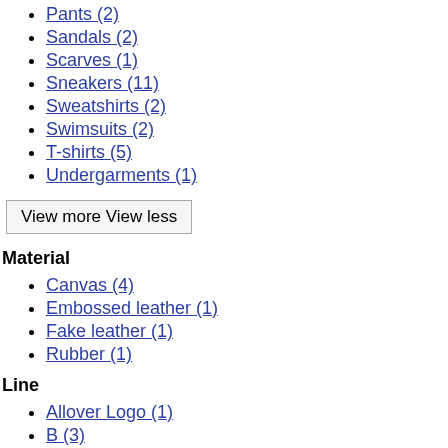Pants (2)
Sandals (2)
Scarves (1)
Sneakers (11)
Sweatshirts (2)
Swimsuits (2)
T-shirts (5)
Undergarments (1)
View more View less
Material
Canvas (4)
Embossed leather (1)
Fake leather (1)
Rubber (1)
Line
Allover Logo (1)
B (3)
BB (2)
College (1)